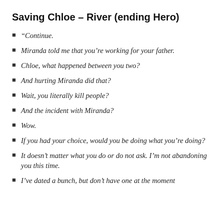Saving Chloe – River (ending Hero)
“Continue.
Miranda told me that you’re working for your father.
Chloe, what happened between you two?
And hurting Miranda did that?
Wait, you literally kill people?
And the incident with Miranda?
Wow.
If you had your choice, would you be doing what you’re doing?
It doesn’t matter what you do or do not ask. I’m not abandoning you this time.
I’ve dated a bunch, but don’t have one at the moment